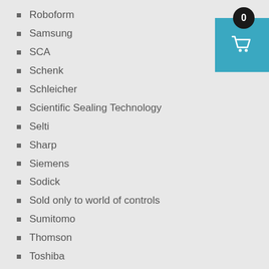Roboform
Samsung
SCA
Schenk
Schleicher
Scientific Sealing Technology
Selti
Sharp
Siemens
Sodick
Sold only to world of controls
Sumitomo
Thomson
Toshiba
Tosnuc
Total Control
Totoku
TOUCH SCREEN
[Figure (other): Shopping cart icon with badge showing count 0, teal background box with white basket icon]